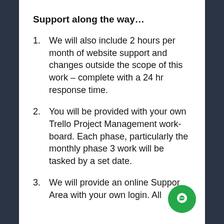Support along the way…
We will also include 2 hours per month of website support and changes outside the scope of this work – complete with a 24 hr response time.
You will be provided with your own Trello Project Management work-board. Each phase, particularly the monthly phase 3 work will be tasked by a set date.
We will provide an online Support Area with your own login.  All